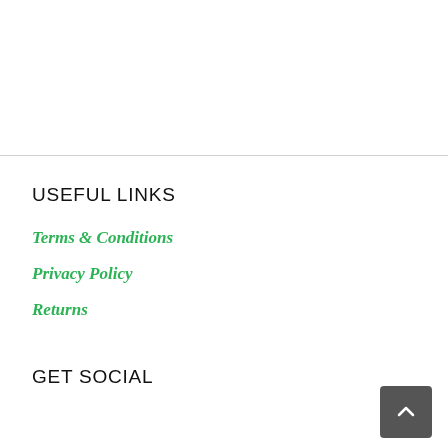USEFUL LINKS
Terms & Conditions
Privacy Policy
Returns
GET SOCIAL